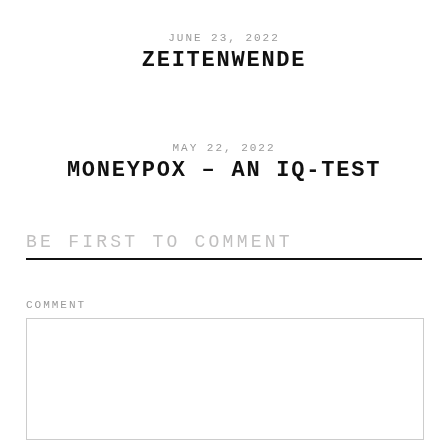JUNE 23, 2022
ZEITENWENDE
MAY 22, 2022
MONEYPOX – AN IQ-TEST
BE FIRST TO COMMENT
COMMENT